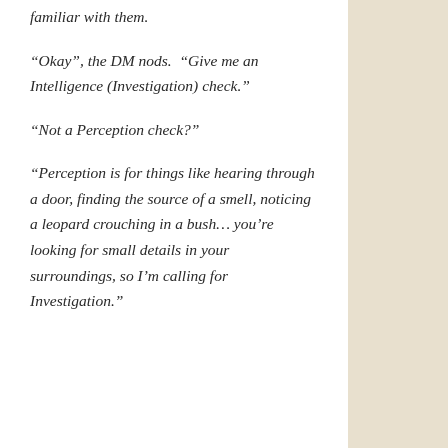familiar with them.
“Okay”, the DM nods. “Give me an Intelligence (Investigation) check.”
“Not a Perception check?”
“Perception is for things like hearing through a door, finding the source of a smell, noticing a leopard crouching in a bush… you’re looking for small details in your surroundings, so I’m calling for Investigation.”